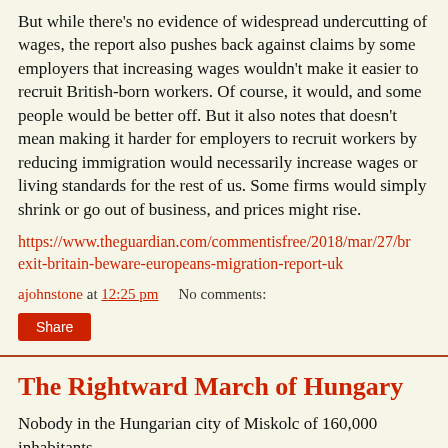But while there's no evidence of widespread undercutting of wages, the report also pushes back against claims by some employers that increasing wages wouldn't make it easier to recruit British-born workers. Of course, it would, and some people would be better off. But it also notes that doesn't mean making it harder for employers to recruit workers by reducing immigration would necessarily increase wages or living standards for the rest of us. Some firms would simply shrink or go out of business, and prices might rise.
https://www.theguardian.com/commentisfree/2018/mar/27/brexit-britain-beware-europeans-migration-report-uk
ajohnstone at 12:25 pm    No comments:
Share
The Rightward March of Hungary
Nobody in the Hungarian city of Miskolc of 160,000 inhabitants